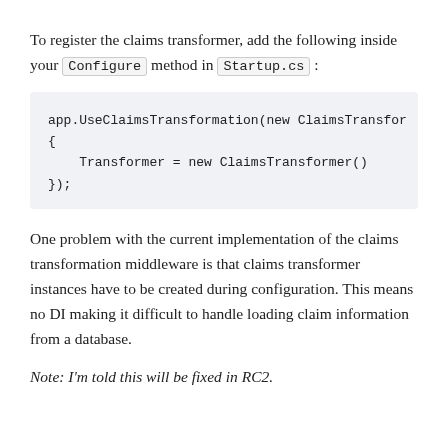To register the claims transformer, add the following inside your Configure method in Startup.cs :
app.UseClaimsTransformation(new ClaimsTransfor
{
    Transformer = new ClaimsTransformer()
});
One problem with the current implementation of the claims transformation middleware is that claims transformer instances have to be created during configuration. This means no DI making it difficult to handle loading claim information from a database.
Note: I'm told this will be fixed in RC2.